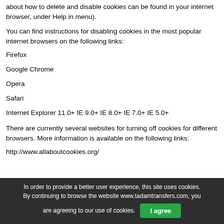about how to delete and disable cookies can be found in your internet browser, under Help in menu).
You can find instructions for disabling cookies in the most popular internet browsers on the following links:
Firefox
Google Chrome
Opera
Safari
Internet Explorer 11.0+ IE 9.0+ IE 8.0+ IE 7.0+ IE 5.0+
There are currently several websites for turning off cookies for different browsers. More information is available on the following links:
http://www.allaboutcookies.org/
In order to provide a better user experience, this site uses cookies. By continuing to browse the website www.tadamtransfers.com, you are agreeing to our use of cookies.